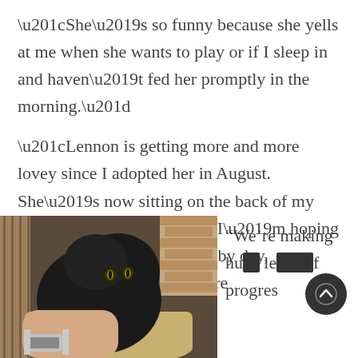“She’s so funny because she yells at me when she wants to play or if I sleep in and haven’t fed her promptly in the morning.”
“Lennon is getting more and more lovey since I adopted her in August. She’s now sitting on the back of my chair and purring in my ear. I’m hoping my lap is the next step. Day by day, she’s getting even more affectionate.”
[Figure (photo): A black fluffy cat sitting in a wicker/fabric cat bed, being petted by a person’s hand wearing a silver watch. Brick-like wall and wooden slats visible in the background.]
“We’re making hu le f progres